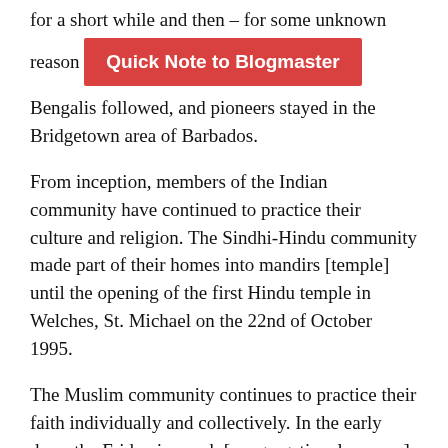for a short while and then – for some unknown reason Bengalis followed, and pioneers stayed in the Bridgetown area of Barbados.
Quick Note to Blogmaster
From inception, members of the Indian community have continued to practice their culture and religion. The Sindhi-Hindu community made part of their homes into mandirs [temple] until the opening of the first Hindu temple in Welches, St. Michael on the 22nd of October 1995.
The Muslim community continues to practice their faith individually and collectively. In the early days, the Friday jummah [congregational prayers] were performed at private homes at Wellington Street and Cheapside in the city. In 1951, the first masjid [mosque] was built in Kensington New Road.